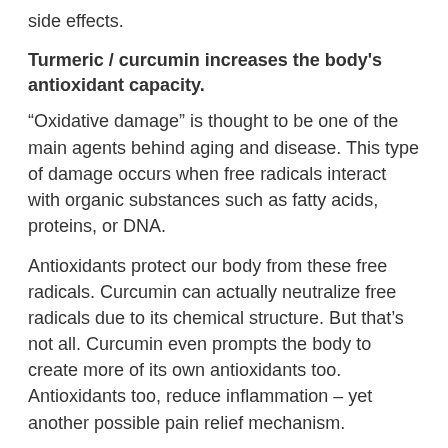side effects.
Turmeric / curcumin increases the body's antioxidant capacity.
“Oxidative damage” is thought to be one of the main agents behind aging and disease. This type of damage occurs when free radicals interact with organic substances such as fatty acids, proteins, or DNA.
Antioxidants protect our body from these free radicals. Curcumin can actually neutralize free radicals due to its chemical structure. But that’s not all. Curcumin even prompts the body to create more of its own antioxidants too. Antioxidants too, reduce inflammation – yet another possible pain relief mechanism.
Curcumin increases brain-derived neurotropic factor, improving brain function and lowering the risk of brain disease.
Until recently, it was thought brain pathways could not repair